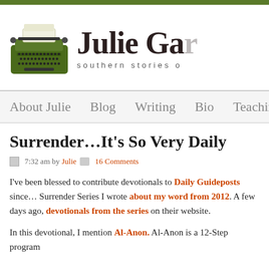Julie Gar... southern stories o...
About Julie  Blog  Writing  Bio  Teaching  Cont...
Surrender…It's So Very Daily
7:32 am by Julie  16 Comments
I've been blessed to contribute devotionals to Daily Guideposts since... Surrender Series I wrote about my word from 2012. A few days ago, devotionals from the series on their website.
In this devotional, I mention Al-Anon. Al-Anon is a 12-Step program...